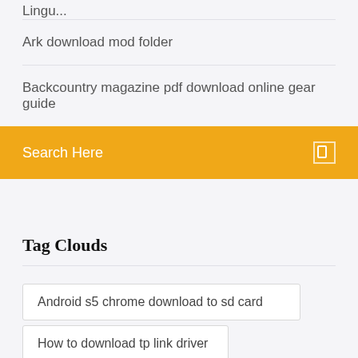Lingu...
Ark download mod folder
Backcountry magazine pdf download online gear guide
Search Here
Tag Clouds
Android s5 chrome download to sd card
How to download tp link driver